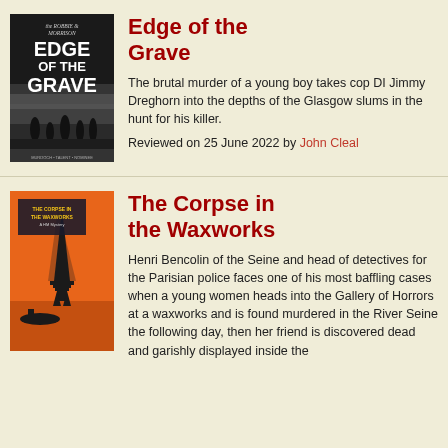[Figure (illustration): Book cover of 'Edge of the Grave' by Robbie Morrison — dark monochrome noir style with large stylized text and silhouetted figures in a foggy street scene]
Edge of the Grave
The brutal murder of a young boy takes cop DI Jimmy Dreghorn into the depths of the Glasgow slums in the hunt for his killer.
Reviewed on 25 June 2022 by John Cleal
[Figure (illustration): Book cover of 'The Corpse in the Waxworks: A HM Mystery' — orange background with Eiffel Tower silhouette and a dark boat on the Seine]
The Corpse in the Waxworks
Henri Bencolin of the Seine and head of detectives for the Parisian police faces one of his most baffling cases when a young women heads into the Gallery of Horrors at a waxworks and is found murdered in the River Seine the following day, then her friend is discovered dead and garishly displayed inside the